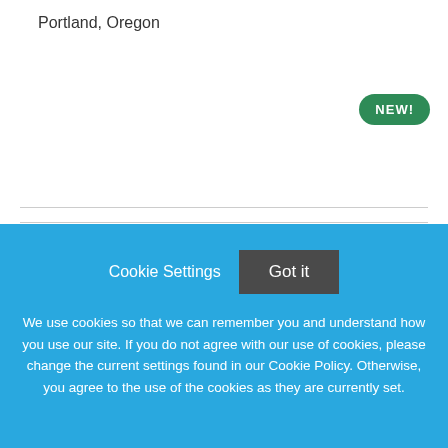Portland, Oregon
[Figure (logo): Veterans Affairs, Veterans Health Administration Logo (broken image placeholder)]
Registered Nurse-Nurse Manger-Wound Care-PAVE & CRC
Cookie Settings  Got it
We use cookies so that we can remember you and understand how you use our site. If you do not agree with our use of cookies, please change the current settings found in our Cookie Policy. Otherwise, you agree to the use of the cookies as they are currently set.